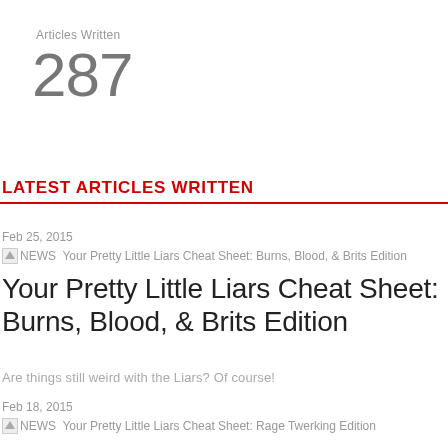Articles Written
287
LATEST ARTICLES WRITTEN
Feb 25, 2015
NEWS
Your Pretty Little Liars Cheat Sheet: Burns, Blood, & Brits Edition
Are things still weird with the Liars? Of course!
Feb 18, 2015
NEWS  Your Pretty Little Liars Cheat Sheet: Rage Twerking Edition